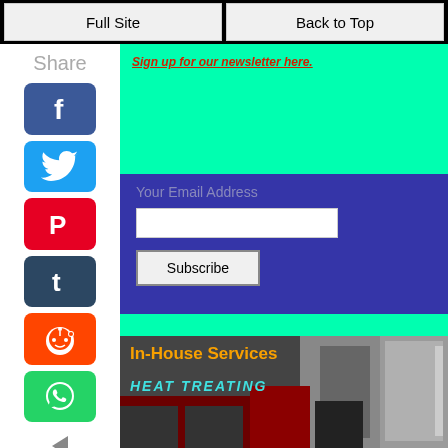Full Site | Back to Top
Share
[Figure (other): Facebook social share icon - blue square with white F logo]
[Figure (other): Twitter social share icon - blue square with white bird logo]
[Figure (other): Pinterest social share icon - red square with white P logo]
[Figure (other): Tumblr social share icon - dark blue square with white t logo]
[Figure (other): Reddit social share icon - orange square with white alien logo]
[Figure (other): WhatsApp social share icon - green square with white phone logo]
Sign up for our newsletter here.
Your Email Address
Subscribe
In-House Services
HEAT TREATING
HOLLOW BORING
PRODUCTION CUTTING
PRODUCTION MACHINING